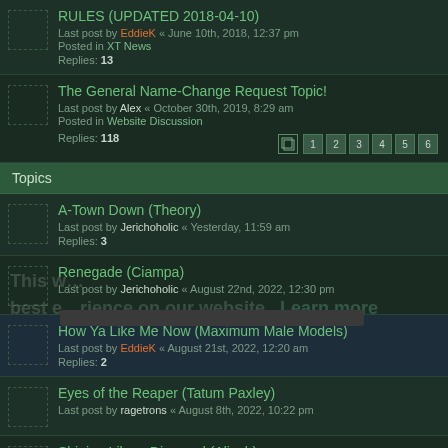RULES (UPDATED 2018-04-10) — Last post by EddieK « June 10th, 2018, 12:37 pm — Posted in XT News — Replies: 13
The General Name-Change Request Topic! — Last post by Alex « October 30th, 2019, 8:29 am — Posted in Website Discussion — Replies: 118 — Pages: 1 2 3 4 5 6
Topics
A-Town Down (Theory) — Last post by Jerichoholic « Yesterday, 11:59 am — Replies: 3
Renegade (Ciampa) — Last post by Jerichoholic « August 22nd, 2022, 12:30 pm
How Ya Like Me Now (Maximum Male Models) — Last post by EddieK « August 21st, 2022, 12:20 am — Replies: 2
Eyes of the Reaper (Tatum Paxley) — Last post by ragetrons « August 8th, 2022, 10:22 pm
Shining Like a Diamond (Aliyah) — Last post by ragetrons « July 28th, 2022, 1:35 pm